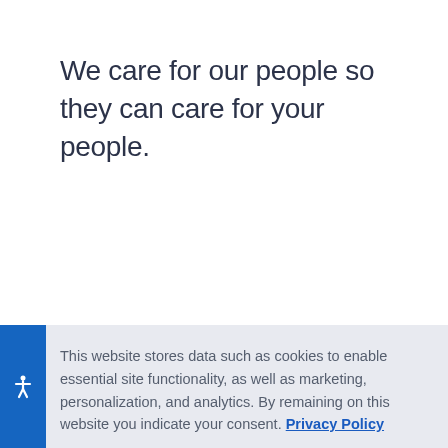We care for our people so they can care for your people.
Our Services
Our work has always mattered. By
This website stores data such as cookies to enable essential site functionality, as well as marketing, personalization, and analytics. By remaining on this website you indicate your consent. Privacy Policy